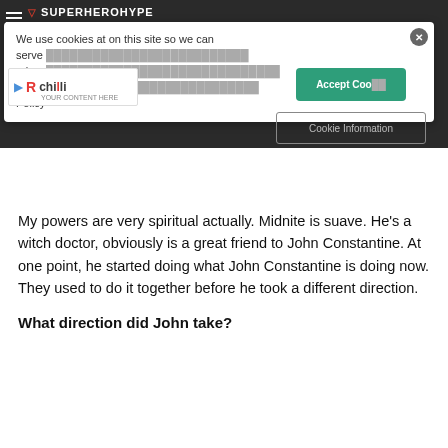[Figure (screenshot): SuperHeroHype website header with dark background showing site logo and navigation]
We use cookies at on this site so we can serve relevant content and advertising to you, please visit our Privacy and Cookie Information Policy
[Figure (logo): RChilli advertisement logo with play button]
Accept Cookies
Cookie Information
My powers are very spiritual actually. Midnite is suave. He's a witch doctor, obviously is a great friend to John Constantine. At one point, he started doing what John Constantine is doing now. They used to do it together before he took a different direction.
What direction did John take?